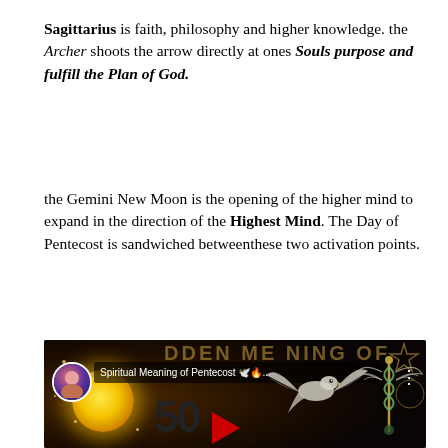Sagittarius is faith, philosophy and higher knowledge. the Archer shoots the arrow directly at ones Souls purpose and fulfill the Plan of God.
the Gemini New Moon is the opening of the higher mind to expand in the direction of the Highest Mind. The Day of Pentecost is sandwiched betweenthese two activation points.
[Figure (screenshot): YouTube video thumbnail for 'Spiritual Meaning of Pentecost' showing a sun glow on left, the number 50 in large text, a dove graphic with wings spread, a caduceus/heraldic emblem on the right, a channel icon and video title bar at top, and a red YouTube play button at bottom.]